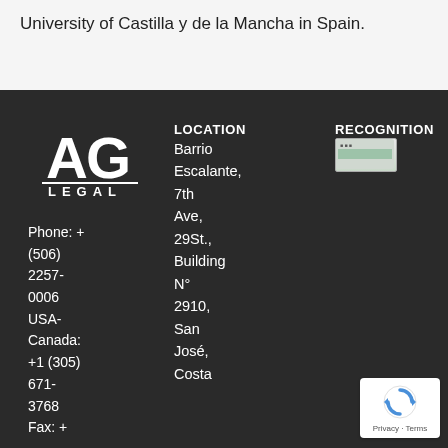University of Castilla y de la Mancha in Spain.
[Figure (logo): AG Legal law firm logo with stylized A and G letters and underline, white on dark background]
Phone: + (506) 2257-0006 USA-Canada: +1 (305) 671-3768 Fax: +
LOCATION
Barrio Escalante, 7th Ave, 29St., Building N° 2910, San José, Costa
RECOGNITION
[Figure (other): Small recognition/award badge image]
[Figure (other): Google reCAPTCHA badge with Privacy and Terms text]